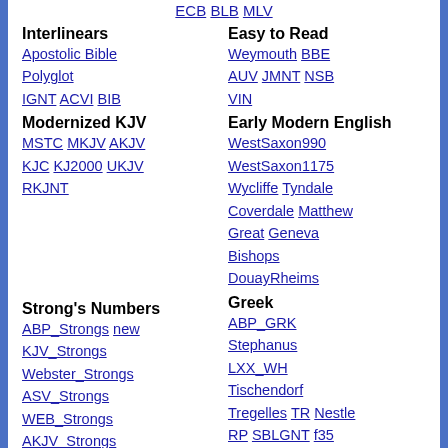ECB BLB MLV
Interlinears
Apostolic Bible Polyglot IGNT ACVI BIB
Easy to Read
Weymouth BBE AUV JMNT NSB VIN
Modernized KJV
MSTC MKJV AKJV KJC KJ2000 UKJV RKJNT
Early Modern English
WestSaxon990 WestSaxon1175 Wycliffe Tyndale Coverdale Matthew Great Geneva Bishops DouayRheims
Strong's Numbers
ABP_Strongs new KJV_Strongs Webster_Strongs ASV_Strongs WEB_Strongs AKJV_Strongs CKJV_Strongs
Greek
ABP_GRK Stephanus LXX_WH Tischendorf Tregelles TR Nestle RP SBLGNT f35 IGNT ACVI BGB BIB